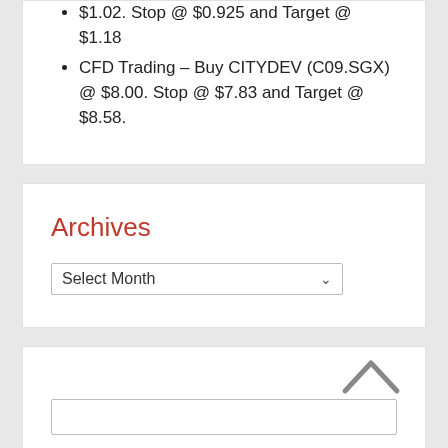$1.02. Stop @ $0.925 and Target @ $1.18
CFD Trading – Buy CITYDEV (C09.SGX) @ $8.00. Stop @ $7.83 and Target @ $8.58.
Archives
[Figure (other): Select Month dropdown widget]
[Figure (other): Search input box with up-arrow chevron icon above it]